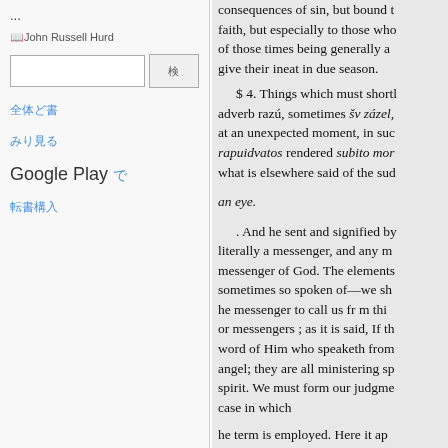...
John Russell Hurd
전체 도서
미리보기
Google Play 에서
도서 구입
consequences of sin, but bound faith, but especially to those who of those times being generally a give their ineat in due season.

$ 4. Things which must shortly adverb razú, sometimes šv zázel, at an unexpected moment, in such rapuidvatos rendered subito mor what is elsewhere said of the sud

an eye.

. And he sent and signified by literally a messenger, and any m messenger of God. The elements sometimes so spoken of—we sh he messenger to call us fr m thi or messengers ; as it is said, If th word of Him who speaketh from angel; they are all ministering sp spirit. We must form our judgme case in which

he term is employed. Here it ap